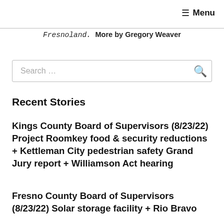≡ Menu
Fresnoland. More by Gregory Weaver
Search …
Recent Stories
Kings County Board of Supervisors (8/23/22) Project Roomkey food & security reductions + Kettleman City pedestrian safety Grand Jury report + Williamson Act hearing
Fresno County Board of Supervisors (8/23/22) Solar storage facility + Rio Bravo